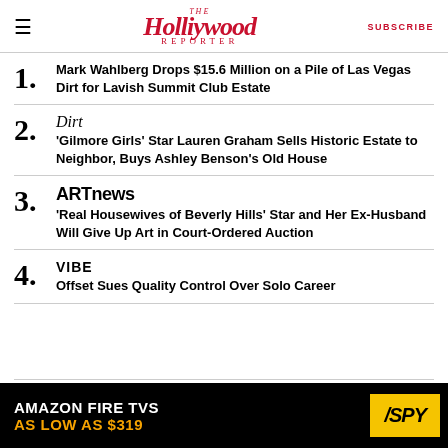THE Hollywood Reporter | SUBSCRIBE
1. Mark Wahlberg Drops $15.6 Million on a Pile of Las Vegas Dirt for Lavish Summit Club Estate
2. Dirt — 'Gilmore Girls' Star Lauren Graham Sells Historic Estate to Neighbor, Buys Ashley Benson's Old House
3. ARTnews — 'Real Housewives of Beverly Hills' Star and Her Ex-Husband Will Give Up Art in Court-Ordered Auction
4. VIBE — Offset Sues Quality Control Over Solo Career
[Figure (infographic): Amazon Fire TVs advertisement — AS LOW AS $319, with SPY logo on yellow background]